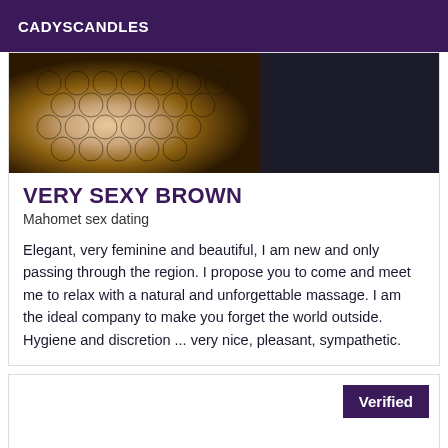CADYSCANDLES
[Figure (photo): Partial photo showing fishnet/lace fabric pattern with skin tones on left and dark background on right]
VERY SEXY BROWN
Mahomet sex dating
Elegant, very feminine and beautiful, I am new and only passing through the region. I propose you to come and meet me to relax with a natural and unforgettable massage. I am the ideal company to make you forget the world outside. Hygiene and discretion ... very nice, pleasant, sympathetic.
Verified